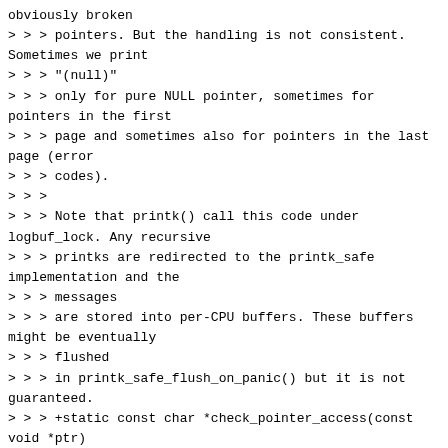obviously broken
> > > pointers. But the handling is not consistent. Sometimes we print
> > > "(null)"
> > > only for pure NULL pointer, sometimes for pointers in the first
> > > page and sometimes also for pointers in the last page (error
> > > codes).
> > >
> > > Note that printk() call this code under logbuf_lock. Any recursive
> > > printks are redirected to the printk_safe implementation and the
> > > messages
> > > are stored into per-CPU buffers. These buffers might be eventually
> > > flushed
> > > in printk_safe_flush_on_panic() but it is not guaranteed.
> > > +static const char *check_pointer_access(const void *ptr)
> > > +{
> > > + char byte;
> > > +
> > > + if (!ptr)
> > > +        return "(null)";
> > > +
> > > + if (probe_kernel_address(ptr, byte))
> > > +        return "(efault)";